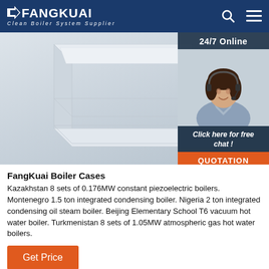FANGKUAI - Clean Boiler System Supplier
[Figure (photo): Hero image of industrial boiler equipment with 3D rendering of white/grey box-shaped boiler units. Overlay panel showing 24/7 Online customer service agent with headset, chat button, and QUOTATION button.]
FangKuai Boiler Cases
Kazakhstan 8 sets of 0.176MW constant piezoelectric boilers. Montenegro 1.5 ton integrated condensing boiler. Nigeria 2 ton integrated condensing oil steam boiler. Beijing Elementary School T6 vacuum hot water boiler. Turkmenistan 8 sets of 1.05MW atmospheric gas hot water boilers.
Get Price